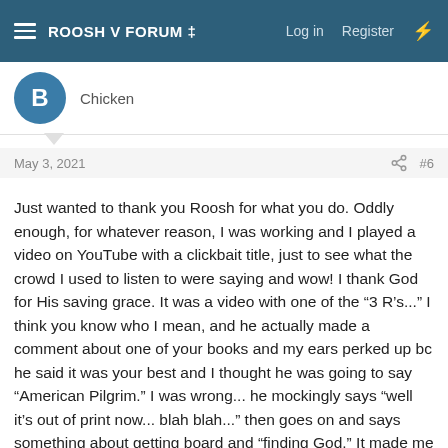ROOSH V FORUM ‡ | Log in | Register
Chicken
May 3, 2021 #6
Just wanted to thank you Roosh for what you do. Oddly enough, for whatever reason, I was working and I played a video on YouTube with a clickbait title, just to see what the crowd I used to listen to were saying and wow! I thank God for His saving grace. It was a video with one of the "3 R's..." I think you know who I mean, and he actually made a comment about one of your books and my ears perked up bc he said it was your best and I thought he was going to say "American Pilgrim." I was wrong... he mockingly says "well it's out of print now... blah blah..." then goes on and says something about getting board and "finding God." It made me sick. I immediately turned it off and came here to take a spiritual bath so to speak. It was a great read. It's so crazy how the Spirit can work in our lives to the extent we forget our old lives and see the lie Satan presents us. This guy just wrote a nonsense book claiming to be "red pill religion," but you